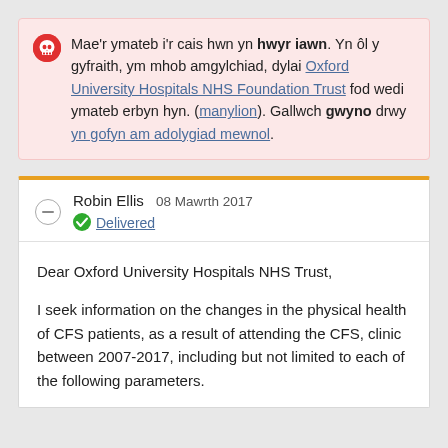Mae'r ymateb i'r cais hwn yn hwyr iawn. Yn ôl y gyfraith, ym mhob amgylchiad, dylai Oxford University Hospitals NHS Foundation Trust fod wedi ymateb erbyn hyn. (manylion). Gallwch gwyno drwy yn gofyn am adolygiad mewnol.
Robin Ellis 08 Mawrth 2017
Delivered
Dear Oxford University Hospitals NHS Trust,
I seek information on the changes in the physical health of CFS patients, as a result of attending the CFS, clinic between 2007-2017, including but not limited to each of the following parameters.